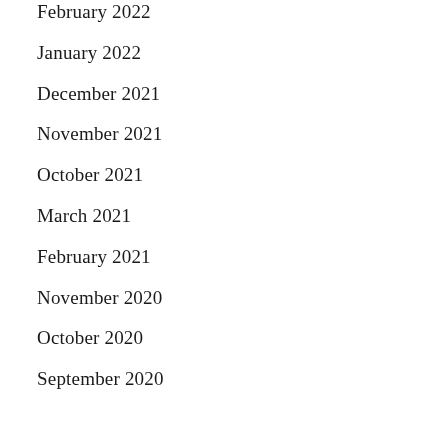February 2022
January 2022
December 2021
November 2021
October 2021
March 2021
February 2021
November 2020
October 2020
September 2020